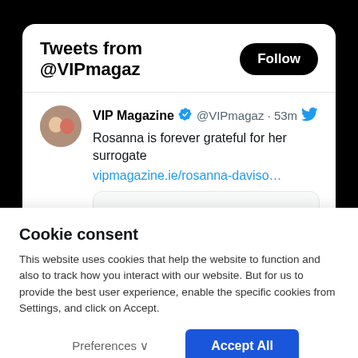Tweets from @VIPmagaz
VIP Magazine ✓ @VIPmagaz · 53m
Rosanna is forever grateful for her surrogate
vipmagazine.ie/rosanna-daviso…
[Figure (screenshot): Tweet preview card image placeholder]
Cookie consent
This website uses cookies that help the website to function and also to track how you interact with our website. But for us to provide the best user experience, enable the specific cookies from Settings, and click on Accept.
Preferences ∨   Accept All